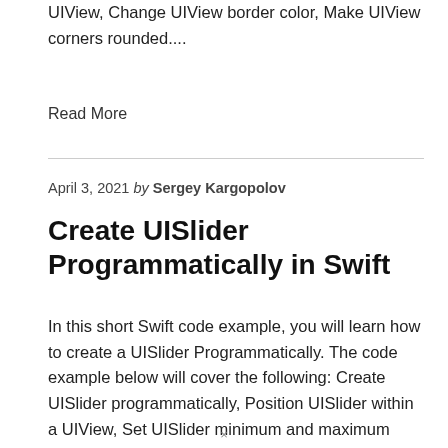UIView, Change UIView border color, Make UIView corners rounded....
Read More
April 3, 2021 by Sergey Kargopolov
Create UISlider Programmatically in Swift
In this short Swift code example, you will learn how to create a UISlider Programmatically. The code example below will cover the following: Create UISlider programmatically, Position UISlider within a UIView, Set UISlider minimum and maximum values, Change UISlider tint color, Handle UISlider value changed event, Make